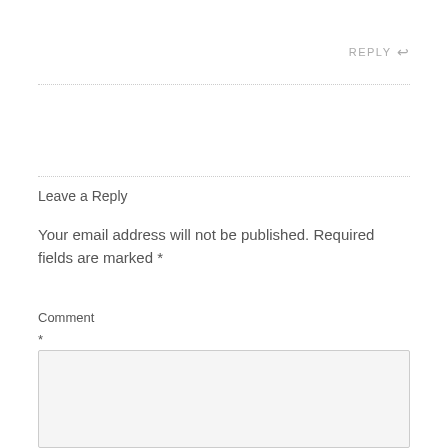REPLY ↩
Leave a Reply
Your email address will not be published. Required fields are marked *
Comment *